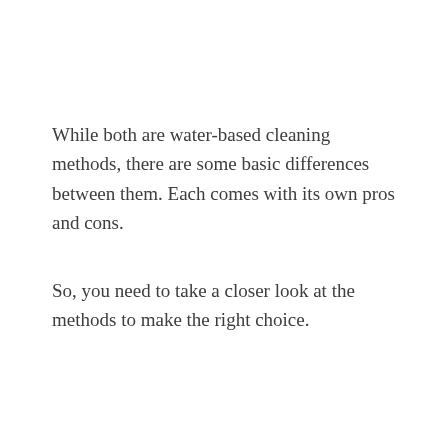While both are water-based cleaning methods, there are some basic differences between them. Each comes with its own pros and cons.
So, you need to take a closer look at the methods to make the right choice.
To help you out, we will look deeper into the topic of